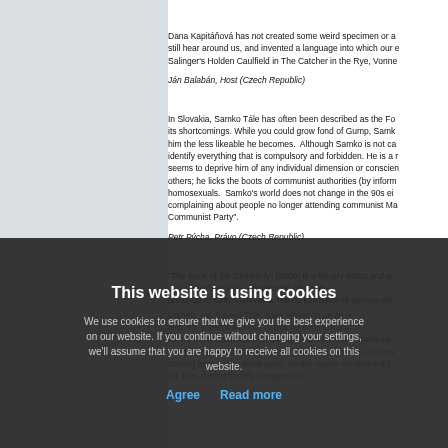Dana Kapitáňová has not created some weird specimen or a still hear around us, and invented a language into which our e Salinger's Holden Caulfield in The Catcher in the Rye, Vonne
Ján Balabán, Host (Czech Republic)
In Slovakia, Samko Tále has often been described as the For its shortcomings. While you could grow fond of Gump, Samko him the less likeable he becomes. Although Samko is not ca identify everything that is compulsory and forbidden. He is a r seems to deprive him of any individual dimension or conscien others; he licks the boots of communist authorities (by inform homosexuals. Samko's world does not change in the 90s eit complaining about people no longer attending communist Ma Communist Party".
Petr Pýcha, Právo (Czech Republic)
"The Book of the Cemetery" (2000) is a literary debut and a break-up of Czechoslovakia, the co-existence of various eth
Daniela i.e. Samko Tále, uses repetition as an ov over thi important to him or that he does not und where the chasm between Samko and the reader opens up resolutions, despite all his efforts, lead him nowhere, he face coming back to the same point, for the reader the text is a k the fate of what literally happened at
This website is using cookies
We use cookies to ensure that we give you the best experience on our website. If you continue without changing your settings, we'll assume that you are happy to receive all cookies on this website.
Agree   Read more